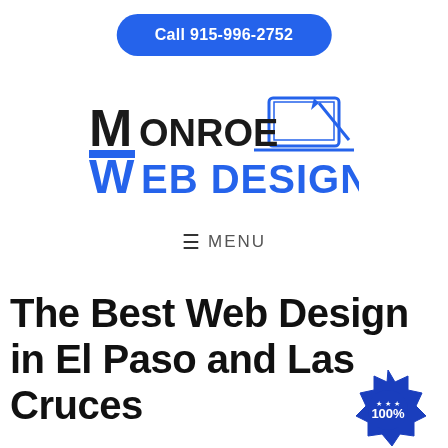Call 915-996-2752
[Figure (logo): Monroe Web Design logo with laptop icon and blue/black text]
≡ MENU
The Best Web Design in El Paso and Las Cruces
[Figure (illustration): Blue badge/seal with 100% text at bottom right corner]